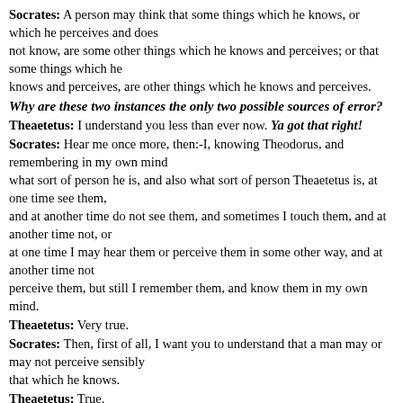Socrates: A person may think that some things which he knows, or which he perceives and does not know, are some other things which he knows and perceives; or that some things which he knows and perceives, are other things which he knows and perceives.
Why are these two instances the only two possible sources of error?
Theaetetus: I understand you less than ever now. Ya got that right!
Socrates: Hear me once more, then:-I, knowing Theodorus, and remembering in my own mind what sort of person he is, and also what sort of person Theaetetus is, at one time see them, and at another time do not see them, and sometimes I touch them, and at another time not, or at one time I may hear them or perceive them in some other way, and at another time not perceive them, but still I remember them, and know them in my own mind.
Theaetetus: Very true.
Socrates: Then, first of all, I want you to understand that a man may or may not perceive sensibly that which he knows.
Theaetetus: True.
Socrates: And that which he does not know will sometimes not be perceived by him and sometimes will be perceived and only perceived?
Theaetetus: That is also true.
Socrates: See whether you can follow me better now: Socrates can recognize